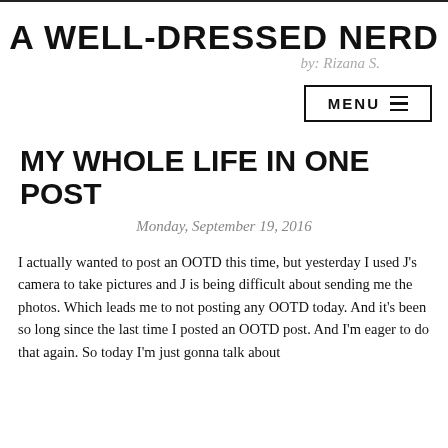A WELL-DRESSED NERD by: Rizana S.
MY WHOLE LIFE IN ONE POST
Monday, September 19, 2016
I actually wanted to post an OOTD this time, but yesterday I used J's camera to take pictures and J is being difficult about sending me the photos. Which leads me to not posting any OOTD today. And it's been so long since the last time I posted an OOTD post. And I'm eager to do that again. So today I'm just gonna talk about